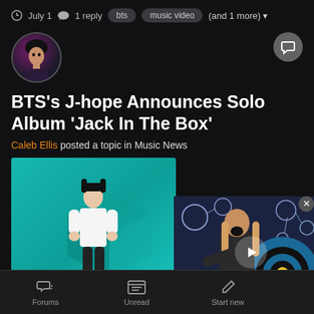July 1  1 reply  bts  music video  (and 1 more)
[Figure (photo): User avatar: person with dark hair against dark background with purple/pink tones]
BTS's J-hope Announces Solo Album 'Jack In The Box'
Caleb Ellis posted a topic in Music News
[Figure (photo): Jack In The Box album cover: teal/cyan background with figure in white outfit and Jack In The Box text at bottom]
[Figure (photo): Side video thumbnail: man with long hair playing guitar with circular target design, WatchMojo logo visible]
Forums  Unread  Start new